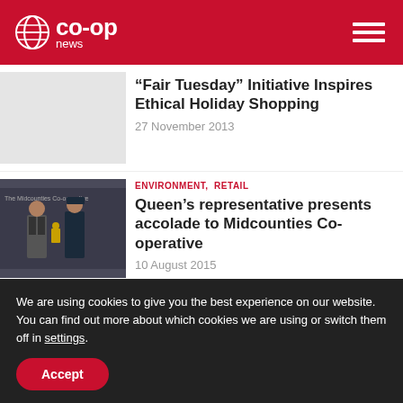Co-op News
“Fair Tuesday” Initiative Inspires Ethical Holiday Shopping
27 November 2013
ENVIRONMENT,  RETAIL
Queen’s representative presents accolade to Midcounties Co-operative
10 August 2015
We are using cookies to give you the best experience on our website.
You can find out more about which cookies we are using or switch them off in settings.
Accept